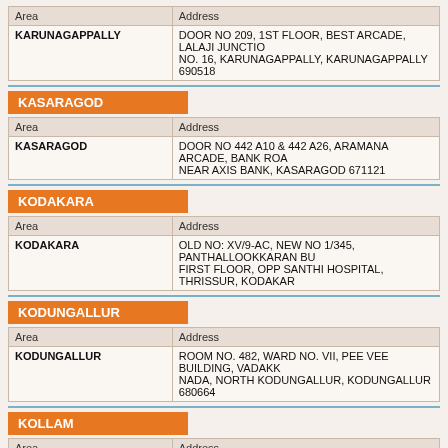| Area | Address |
| --- | --- |
| KARUNAGAPPALLY | DOOR NO 209, 1ST FLOOR, BEST ARCADE, LALAJI JUNCTION NO. 16, KARUNAGAPPALLY, KARUNAGAPPALLY 690518 |
KASARAGOD
| Area | Address |
| --- | --- |
| KASARAGOD | DOOR NO 442 A10 & 442 A26, ARAMANA ARCADE, BANK ROAD, NEAR AXIS BANK, KASARAGOD 671121 |
KODAKARA
| Area | Address |
| --- | --- |
| KODAKARA | OLD NO: XV/9-AC, NEW NO 1/345, PANTHALLOOKKARAN BU FIRST FLOOR, OPP SANTHI HOSPITAL, THRISSUR, KODAKA |
KODUNGALLUR
| Area | Address |
| --- | --- |
| KODUNGALLUR | ROOM NO. 482, WARD NO. VII, PEE VEE BUILDING, VADAKK NADA, NORTH KODUNGALLUR, KODUNGALLUR 680664 |
KOLLAM
| Area | Address |
| --- | --- |
| KOLLAM | MC/XVI/1607A & B/259A, NEW NO. 596 A & B, FIRST FLOOR, THANKAM COMPLEX BASEMENT, OPP SHAH INTERNATIONA HOTEL, RESIDENCY ROAD, KOLLAM 691001 |